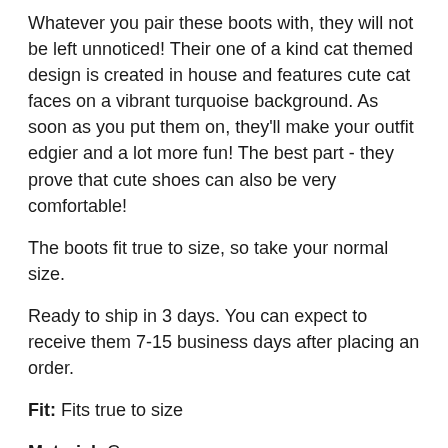Whatever you pair these boots with, they will not be left unnoticed! Their one of a kind cat themed design is created in house and features cute cat faces on a vibrant turquoise background. As soon as you put them on, they'll make your outfit edgier and a lot more fun! The best part - they prove that cute shoes can also be very comfortable!
The boots fit true to size, so take your normal size.
Ready to ship in 3 days. You can expect to receive them 7-15 business days after placing an order.
Fit: Fits true to size
Material: Canvas
Heel Height: Low (0.5")